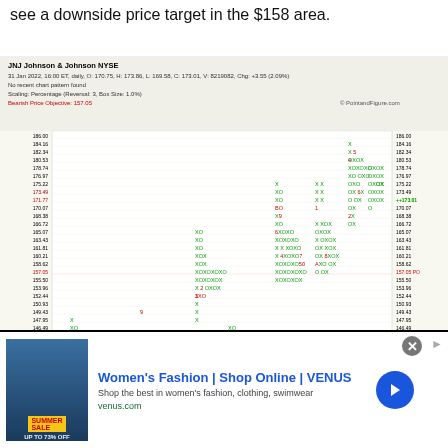see a downside price target in the $158 area.
[Figure (continuous-plot): Point and Figure (P&F) chart for JNJ (Johnson & Johnson NYSE). The chart shows X and O columns with price levels ranging from approximately 124.93 to 186.00. Key annotations include a Bearish Price Objective of 157.05 (shown in red), and a recent price level of 173.01 (shown in green). The chart uses percentage scaling with box size 1.0%. Data shown: 31 Jan 2022, 16:00 ET, daily. O:170.75, H:173.86, L:169.58, C:173.01, V:8219082, Chg:+3.55(2.09%). Scaling: Percentage (Reversal: 3, Box Size: 1.0%). Bearish Price Objective: 157.05.]
[Figure (infographic): Advertisement banner for Women's Fashion | Shop Online | VENUS. Text: Shop the best in women's fashion, clothing, swimwear. Website: venus.com. Contains a promotional image for Summer Sale with up to 73% off.]